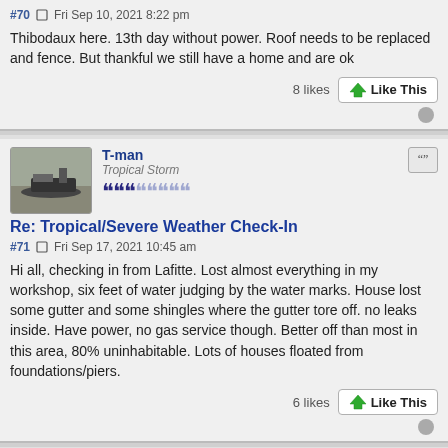#70  Fri Sep 10, 2021 8:22 pm
Thibodaux here. 13th day without power. Roof needs to be replaced and fence. But thankful we still have a home and are ok
8 likes   Like This
T-man
Tropical Storm
Re: Tropical/Severe Weather Check-In
#71  Fri Sep 17, 2021 10:45 am
Hi all, checking in from Lafitte. Lost almost everything in my workshop, six feet of water judging by the water marks. House lost some gutter and some shingles where the gutter tore off. no leaks inside. Have power, no gas service though. Better off than most in this area, 80% uninhabitable. Lots of houses floated from foundations/piers.
6 likes   Like This